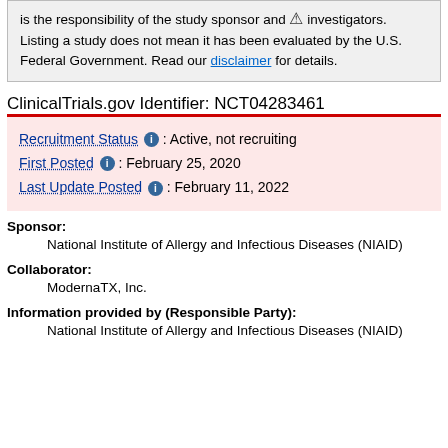is the responsibility of the study sponsor and investigators. Listing a study does not mean it has been evaluated by the U.S. Federal Government. Read our disclaimer for details.
ClinicalTrials.gov Identifier: NCT04283461
Recruitment Status : Active, not recruiting
First Posted : February 25, 2020
Last Update Posted : February 11, 2022
Sponsor:
National Institute of Allergy and Infectious Diseases (NIAID)
Collaborator:
ModernaTX, Inc.
Information provided by (Responsible Party):
National Institute of Allergy and Infectious Diseases (NIAID)